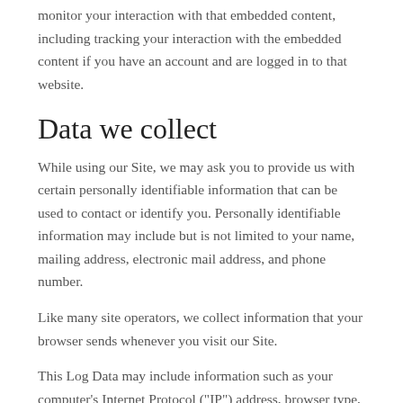monitor your interaction with that embedded content, including tracking your interaction with the embedded content if you have an account and are logged in to that website.
Data we collect
While using our Site, we may ask you to provide us with certain personally identifiable information that can be used to contact or identify you. Personally identifiable information may include but is not limited to your name, mailing address, electronic mail address, and phone number.
Like many site operators, we collect information that your browser sends whenever you visit our Site.
This Log Data may include information such as your computer’s Internet Protocol (“IP”) address, browser type, browser version, the pages of our Site that you visit, the time and date of your visit, the time